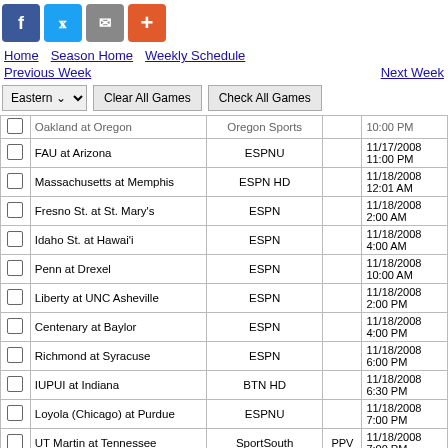Social share icons: Facebook, Twitter, Email, Plus
Home | Season Home | Weekly Schedule | Previous Week | Next Week
|  | Game | Network | PPV | Date/Time |
| --- | --- | --- | --- | --- |
|  | Oakland at Oregon | Oregon Sports |  | 10:00 PM |
|  | FAU at Arizona | ESPNU |  | 11/17/2008 11:00 PM |
|  | Massachusetts at Memphis | ESPN HD |  | 11/18/2008 12:01 AM |
|  | Fresno St. at St. Mary's | ESPN |  | 11/18/2008 2:00 AM |
|  | Idaho St. at Hawai'i | ESPN |  | 11/18/2008 4:00 AM |
|  | Penn at Drexel | ESPN |  | 11/18/2008 10:00 AM |
|  | Liberty at UNC Asheville | ESPN |  | 11/18/2008 2:00 PM |
|  | Centenary at Baylor | ESPN |  | 11/18/2008 4:00 PM |
|  | Richmond at Syracuse | ESPN |  | 11/18/2008 6:00 PM |
|  | IUPUI at Indiana | BTN HD |  | 11/18/2008 6:30 PM |
|  | Loyola (Chicago) at Purdue | ESPNU |  | 11/18/2008 7:00 PM |
|  | UT Martin at Tennessee | SportSouth | PPV | 11/18/2008 7:00 PM |
|  | Stony Brook at Lafayette | Lafayette Sports |  | 11/18/2008 7:00 PM |
|  | St. John's at Boston College | ESPN2 |  | 11/18/2008 7:30 PM |
|  | Texas Southern at Cincinnati | FOX Sports Ohio |  | 11/18/2008 7:30 PM |
|  | Detroit at Western Michigan | FOX Sports Detroit |  | 11/18/2008 7:30 PM |
|  | Tulane at Texas | FOX Sports Southwest |  | 11/18/2008 |